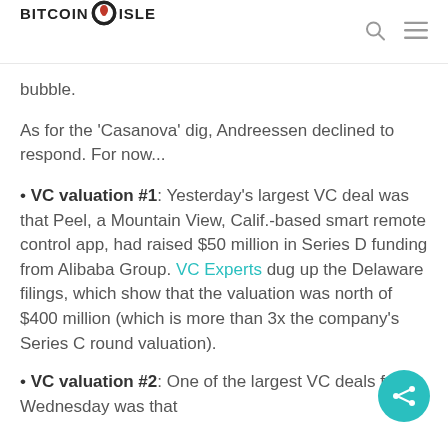BITCOIN ISLE
bubble.
As for the 'Casanova' dig, Andreessen declined to respond. For now...
• VC valuation #1: Yesterday's largest VC deal was that Peel, a Mountain View, Calif.-based smart remote control app, had raised $50 million in Series D funding from Alibaba Group. VC Experts dug up the Delaware filings, which show that the valuation was north of $400 million (which is more than 3x the company's Series C round valuation).
• VC valuation #2: One of the largest VC deals from Wednesday was that Blockchain Wallet, a Bitcoin wallet...